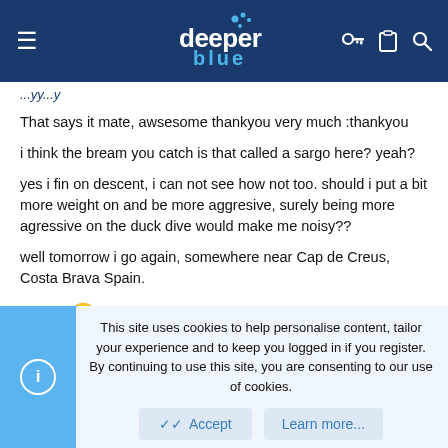deeper blue (navigation bar)
That says it mate, awsesome thankyou very much :thankyou
i think the bream you catch is that called a sargo here? yeah?
yes i fin on descent, i can not see how not too. should i put a bit more weight on and be more aggresive, surely being more agressive on the duck dive would make me noisy??
well tomorrow i go again, somewhere near Cap de Creus, Costa Brava Spain.
Johnny 😎
This site uses cookies to help personalise content, tailor your experience and to keep you logged in if you register.
By continuing to use this site, you are consenting to our use of cookies.